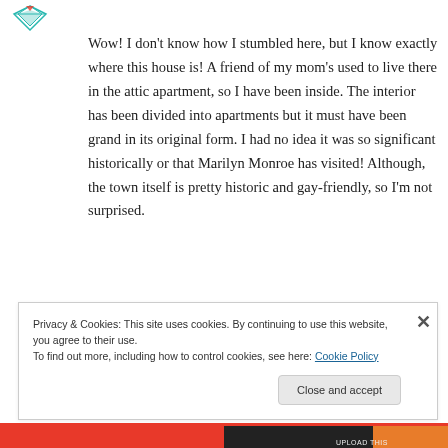[Figure (logo): Small teal/green diamond-shaped logo with geometric pattern at top left]
Wow! I don't know how I stumbled here, but I know exactly where this house is! A friend of my mom's used to live there in the attic apartment, so I have been inside. The interior has been divided into apartments but it must have been grand in its original form. I had no idea it was so significant historically or that Marilyn Monroe has visited! Although, the town itself is pretty historic and gay-friendly, so I'm not surprised.
Privacy & Cookies: This site uses cookies. By continuing to use this website, you agree to their use.
To find out more, including how to control cookies, see here: Cookie Policy
Close and accept